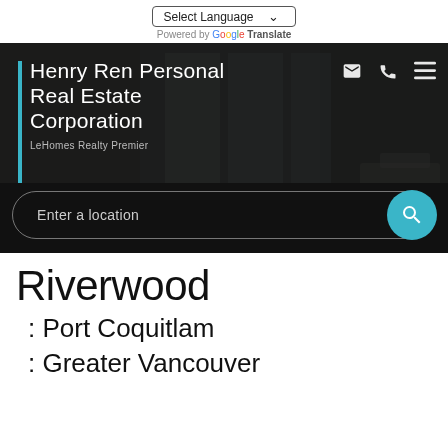[Figure (screenshot): Website header with Select Language dropdown and Powered by Google Translate text]
[Figure (screenshot): Hero banner with dark real estate photo background, blue vertical bar, Henry Ren Personal Real Estate Corporation / LeHomes Realty Premier text, icons for email/phone/menu, ACTIVE/SOLD toggle, and Enter a location search bar with teal search button]
Riverwood
: Port Coquitlam
: Greater Vancouver